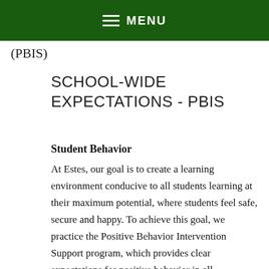MENU
(PBIS)
SCHOOL-WIDE EXPECTATIONS - PBIS
Student Behavior
At Estes, our goal is to create a learning environment conducive to all students learning at their maximum potential, where students feel safe, secure and happy. To achieve this goal, we practice the Positive Behavior Intervention Support program, which provides clear expectations for positive behavior in all